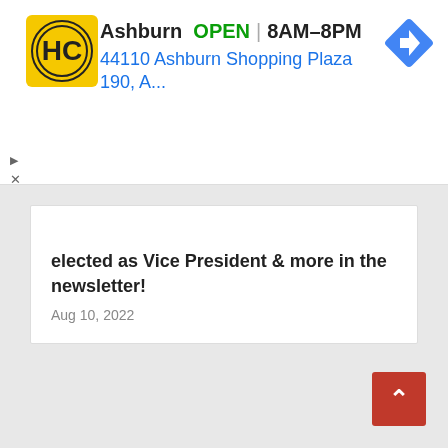[Figure (screenshot): Advertisement banner for HC (Honest-1 Auto Care or similar) business in Ashburn. Shows yellow logo with HC letters, business name Ashburn, OPEN status, hours 8AM-8PM, address 44110 Ashburn Shopping Plaza 190, A..., and a blue navigation/directions icon.]
elected as Vice President & more in the newsletter!
Aug 10, 2022